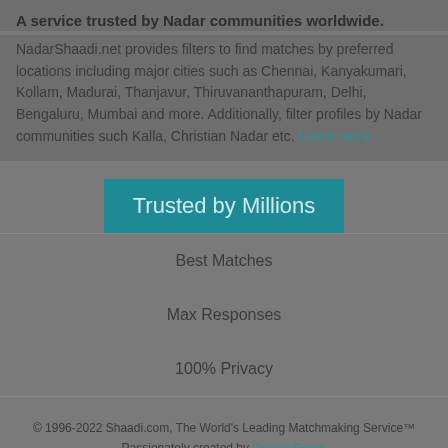A service trusted by Nadar communities worldwide.
NadarShaadi.net provides filters to find matches by preferred locations including major cities such as Chennai, Kanyakumari, Kollam, Madurai, Thanjavur, Thiruvananthapuram, Delhi, Bengaluru, Mumbai and more. Additionally, filter profiles by Nadar communities such Kalla, Christian Nadar etc. Learn more
Trusted by Millions
Best Matches
Max Responses
100% Privacy
© 1996-2022 Shaadi.com, The World's Leading Matchmaking Service™ Passionately created by People Group